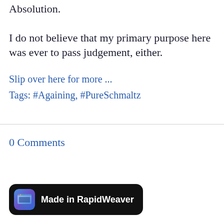Absolution.
I do not believe that my primary purpose here was ever to pass judgement, either.
Slip over here for more ...
Tags: #Againing, #PureSchmaltz
0 Comments
[Figure (logo): Made in RapidWeaver badge with blue app icon on black rounded rectangle background]